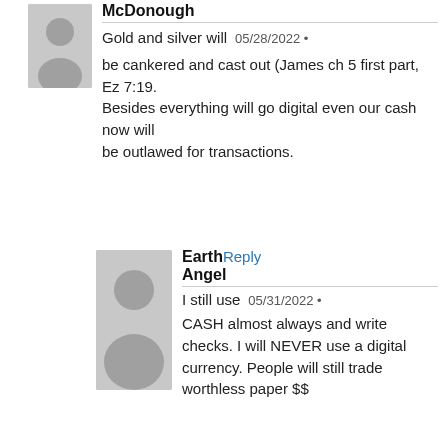McDonough
Gold and silver will be cankered and cast out (James ch 5 first part, Ez 7:19. Besides everything will go digital even our cash now will be outlawed for transactions.
Earth Angel
I still use CASH almost always and write checks. I will NEVER use a digital currency. People will still trade worthless paper $$